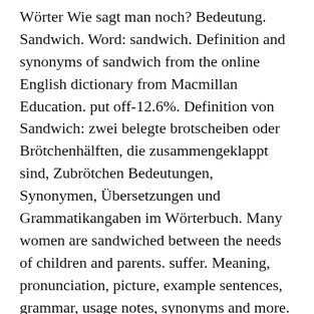Wörter Wie sagt man noch? Bedeutung. Sandwich. Word: sandwich. Definition and synonyms of sandwich from the online English dictionary from Macmillan Education. put off-12.6%. Definition von Sandwich: zwei belegte brotscheiben oder Brötchenhälften, die zusammengeklappt sind, Zubrötchen Bedeutungen, Synonymen, Übersetzungen und Grammatikangaben im Wörterbuch. Many women are sandwiched between the needs of children and parents. suffer. Meaning, pronunciation, picture, example sentences, grammar, usage notes, synonyms and more. Substantiv, Neutrum, oder Substantiv, maskulin – 1. zwei zusammengeklappte belegte Brotscheiben; 2. auf Brust und Rücken zu ....